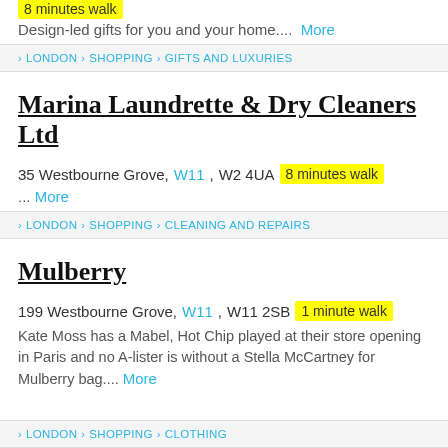8 minutes walk
Design-led gifts for you and your home.... More
> LONDON > SHOPPING > GIFTS AND LUXURIES
Marina Laundrette & Dry Cleaners Ltd
35 Westbourne Grove, W11, W2 4UA  8 minutes walk
... More
> LONDON > SHOPPING > CLEANING AND REPAIRS
Mulberry
199 Westbourne Grove, W11, W11 2SB  1 minute walk
Kate Moss has a Mabel, Hot Chip played at their store opening in Paris and no A-lister is without a Stella McCartney for Mulberry bag.... More
> LONDON > SHOPPING > CLOTHING